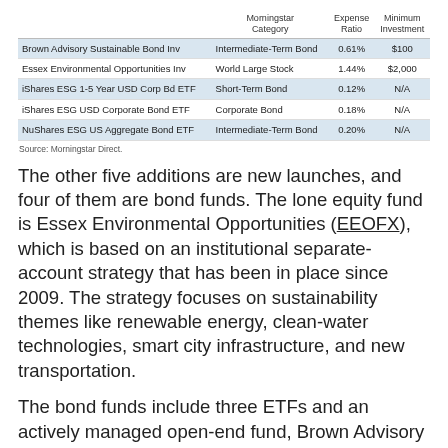|  | Morningstar Category | Expense Ratio | Minimum Investment |
| --- | --- | --- | --- |
| Brown Advisory Sustainable Bond Inv | Intermediate-Term Bond | 0.61% | $100 |
| Essex Environmental Opportunities Inv | World Large Stock | 1.44% | $2,000 |
| iShares ESG 1-5 Year USD Corp Bd ETF | Short-Term Bond | 0.12% | N/A |
| iShares ESG USD Corporate Bond ETF | Corporate Bond | 0.18% | N/A |
| NuShares ESG US Aggregate Bond ETF | Intermediate-Term Bond | 0.20% | N/A |
Source: Morningstar Direct.
The other five additions are new launches, and four of them are bond funds. The lone equity fund is Essex Environmental Opportunities (EEOFX), which is based on an institutional separate-account strategy that has been in place since 2009. The strategy focuses on sustainability themes like renewable energy, clean-water technologies, smart city infrastructure, and new transportation.
The bond funds include three ETFs and an actively managed open-end fund, Brown Advisory Sustainable Bond (BASBX). Like the Essex fund, this one is based on an